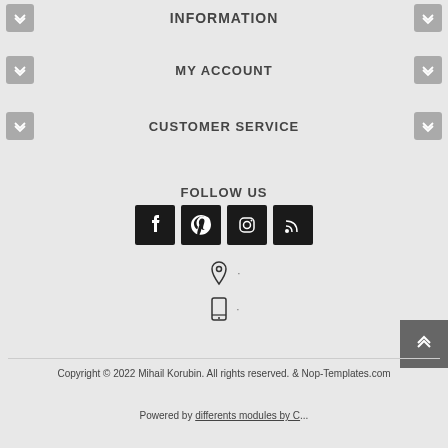INFORMATION
MY ACCOUNT
CUSTOMER SERVICE
FOLLOW US
[Figure (infographic): Four social media icon buttons: Facebook, Pinterest, Instagram, RSS feed — dark square buttons with white icons]
[Figure (infographic): Location pin icon and phone/mobile icon with placeholder contact text]
Copyright © 2022 Mihail Korubin. All rights reserved. & Nop-Templates.com
Powered by differents modules by C...